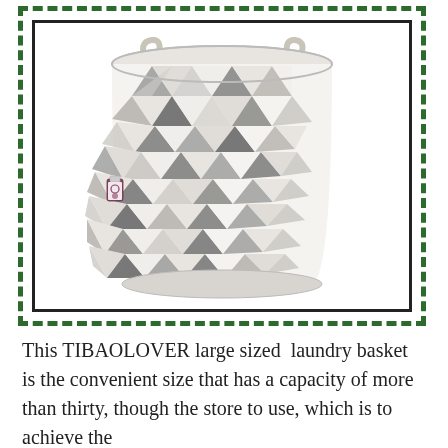[Figure (photo): A large cylindrical laundry basket with a geometric triangle pattern in shades of grey, white, and dark grey. The basket has two fabric handles tied at the top and a decorative tag on the side. It is displayed inside a black solid inner border and a dark green dashed outer border.]
This TIBAOLOVER large sized  laundry basket is the convenient size that has a capacity of more than thirty, though the store to use, which is to achieve the